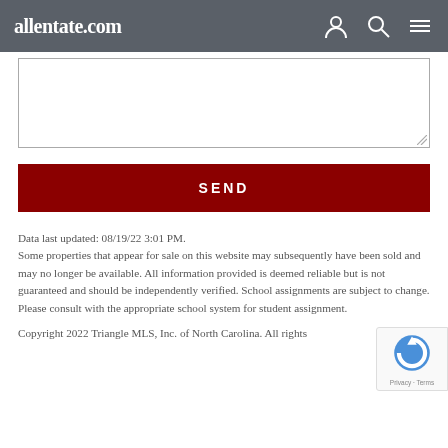allentate.com
[Figure (screenshot): Textarea input field (empty, resizable)]
SEND
Data last updated: 08/19/22 3:01 PM.
Some properties that appear for sale on this website may subsequently have been sold and may no longer be available. All information provided is deemed reliable but is not guaranteed and should be independently verified. School assignments are subject to change. Please consult with the appropriate school system for student assignment.
Copyright 2022 Triangle MLS, Inc. of North Carolina. All rights